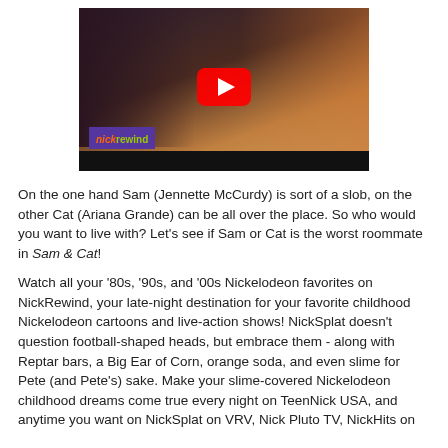[Figure (screenshot): YouTube video thumbnail showing two young women (Ariana Grande and Jennette McCurdy) from Sam & Cat Nickelodeon show, with a YouTube play button overlay and a 'nickRewind' logo on a purple bar at the bottom of the thumbnail. Black bar at the very bottom.]
On the one hand Sam (Jennette McCurdy) is sort of a slob, on the other Cat (Ariana Grande) can be all over the place. So who would you want to live with? Let's see if Sam or Cat is the worst roommate in Sam & Cat!
Watch all your ‘80s, ’90s, and ‘00s Nickelodeon favorites on NickRewind, your late-night destination for your favorite childhood Nickelodeon cartoons and live-action shows! NickSplat doesn’t question football-shaped heads, but embrace them - along with Reptar bars, a Big Ear of Corn, orange soda, and even slime for Pete (and Pete’s) sake. Make your slime-covered Nickelodeon childhood dreams come true every night on TeenNick USA, and anytime you want on NickSplat on VRV, Nick Pluto TV, NickHits on